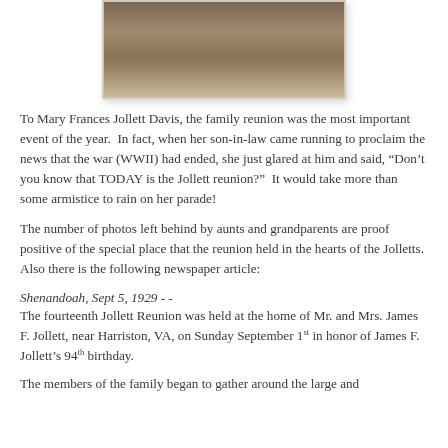[Figure (photo): Sepia-toned historical photograph showing a group of people at an outdoor gathering, partially cropped at top]
To Mary Frances Jollett Davis, the family reunion was the most important event of the year.  In fact, when her son-in-law came running to proclaim the news that the war (WWII) had ended, she just glared at him and said, “Don’t you know that TODAY is the Jollett reunion?”  It would take more than some armistice to rain on her parade!
The number of photos left behind by aunts and grandparents are proof positive of the special place that the reunion held in the hearts of the Jolletts.  Also there is the following newspaper article:
Shenandoah, Sept 5, 1929 - -
The fourteenth Jollett Reunion was held at the home of Mr. and Mrs. James F. Jollett, near Harriston, VA, on Sunday September 1st in honor of James F. Jollett’s 94th birthday.
The members of the family began to gather around the large and